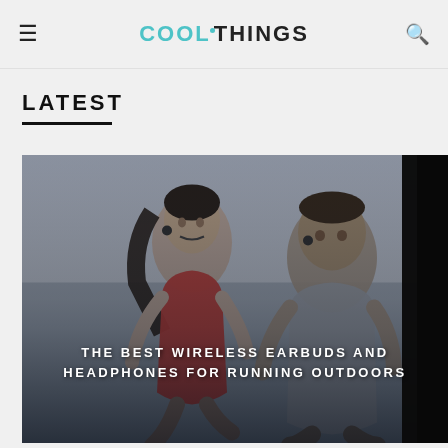COOLTHINGS
LATEST
[Figure (photo): Two runners (a woman in red tank top with earbuds, and a man in gray tank top with earbuds) running outdoors. Overlay text reads: THE BEST WIRELESS EARBUDS AND HEADPHONES FOR RUNNING OUTDOORS]
THE BEST WIRELESS EARBUDS AND HEADPHONES FOR RUNNING OUTDOORS